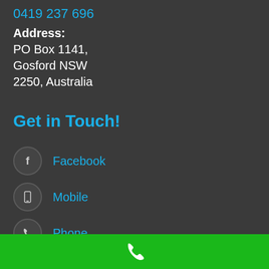0419 237 696
Address:
PO Box 1141,
Gosford NSW
2250, Australia
Get in Touch!
Facebook
Mobile
Phone
[Figure (other): Green bar at bottom with white phone handset icon]